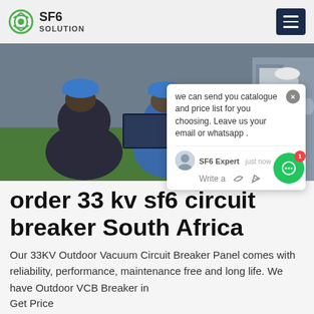SF6 SOLUTION
[Figure (photo): Workers in blue hard hats and blue uniforms crouching and working on industrial equipment in a facility with green floor mats]
we can send you catalogue and price list for you choosing. Leave us your email or whatsapp .
SF6 Expert   just now
Write a
order 33 kv sf6 circuit breaker South Africa
Our 33KV Outdoor Vacuum Circuit Breaker Panel comes with reliability, performance, maintenance free and long life. We have Outdoor VCB Breaker in
Get Price